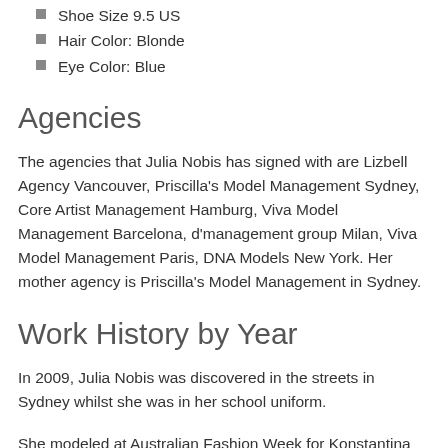Shoe Size 9.5 US
Hair Color: Blonde
Eye Color: Blue
Agencies
The agencies that Julia Nobis has signed with are Lizbell Agency Vancouver, Priscilla's Model Management Sydney, Core Artist Management Hamburg, Viva Model Management Barcelona, d'management group Milan, Viva Model Management Paris, DNA Models New York. Her mother agency is Priscilla's Model Management in Sydney.
Work History by Year
In 2009, Julia Nobis was discovered in the streets in Sydney whilst she was in her school uniform.
She modeled at Australian Fashion Week for Konstantina Mi...